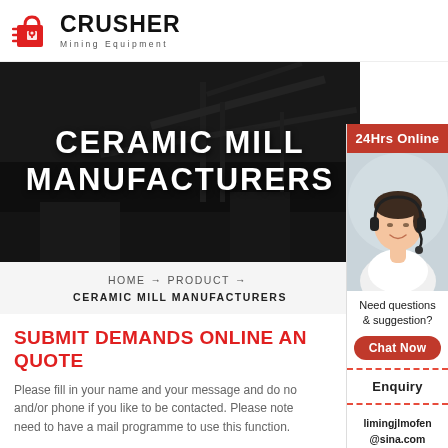CRUSHER Mining Equipment
CERAMIC MILL MANUFACTURERS
HOME → PRODUCT → CERAMIC MILL MANUFACTURERS
SUBMIT DEMANDS ONLINE AND GET QUOTE
Please fill in your name and your message and do not and/or phone if you like to be contacted. Please note need to have a mail programme to use this function.
[Figure (photo): Customer support representative woman wearing headset, for 24Hrs Online chat support sidebar panel]
24Hrs Online
Need questions & suggestion?
Chat Now
Enquiry
limingjlmofen@sina.com